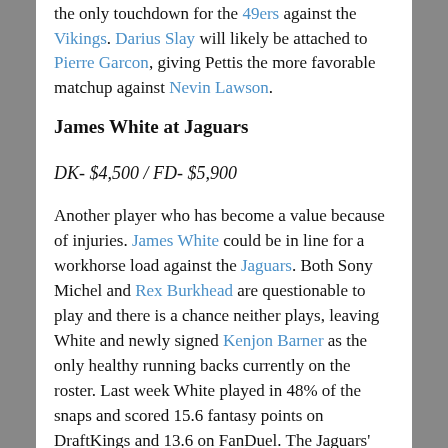the only touchdown for the 49ers against the Vikings. Darius Slay will likely be attached to Pierre Garcon, giving Pettis the more favorable matchup against Nevin Lawson.
James White at Jaguars
DK- $4,500 / FD- $5,900
Another player who has become a value because of injuries. James White could be in line for a workhorse load against the Jaguars. Both Sony Michel and Rex Burkhead are questionable to play and there is a chance neither plays, leaving White and newly signed Kenjon Barner as the only healthy running backs currently on the roster. Last week White played in 48% of the snaps and scored 15.6 fantasy points on DraftKings and 13.6 on FanDuel. The Jaguars' great secondary will have little trouble shutting